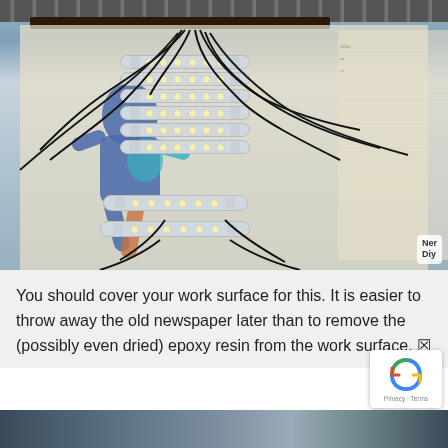[Figure (photo): Photograph showing LED light strips arranged on newspaper-covered work surface. Multiple LED bar modules with wires connected, displayed against a background with a blue running figure silhouette graphic. Watermark 'Ner Diy' visible in bottom right corner of photo.]
You should cover your work surface for this. It is easier to throw away the old newspaper later than to remove the (possibly even dried) epoxy resin from the work surface. 🔲
[Figure (photo): Partial photo visible at the bottom of the page, cropped.]